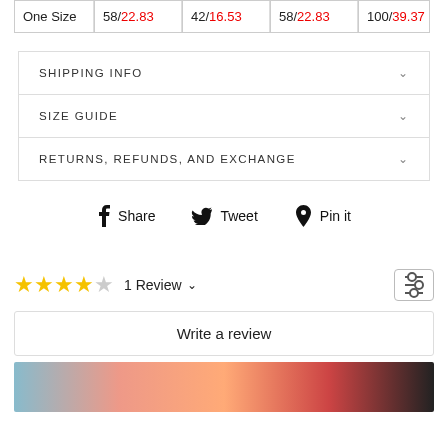|  |  |  |  |  |
| --- | --- | --- | --- | --- |
| One Size | 58/22.83 | 42/16.53 | 58/22.83 | 100/39.37 |
SHIPPING INFO
SIZE GUIDE
RETURNS, REFUNDS, AND EXCHANGE
f Share   🐦 Tweet   📌 Pin it
1 Review
Write a review
[Figure (photo): Product photo strip at bottom of page]